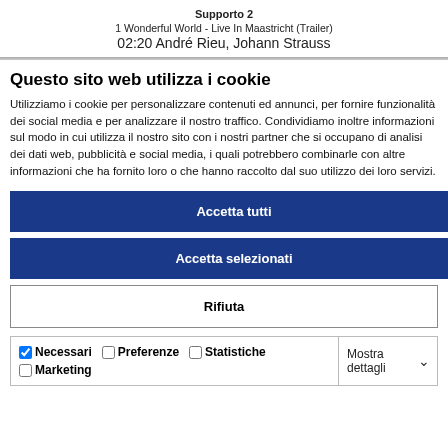Supporto 2
1 Wonderful World - Live In Maastricht (Trailer)
02:20 André Rieu, Johann Strauss
Questo sito web utilizza i cookie
Utilizziamo i cookie per personalizzare contenuti ed annunci, per fornire funzionalità dei social media e per analizzare il nostro traffico. Condividiamo inoltre informazioni sul modo in cui utilizza il nostro sito con i nostri partner che si occupano di analisi dei dati web, pubblicità e social media, i quali potrebbero combinarle con altre informazioni che ha fornito loro o che hanno raccolto dal suo utilizzo dei loro servizi.
Accetta tutti
Accetta selezionati
Rifiuta
Necessari  Preferenze  Statistiche  Marketing  Mostra dettagli